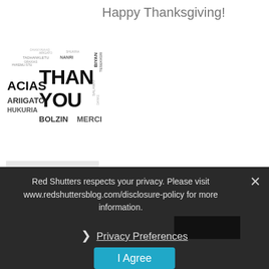Happy Thanksgiving!
[Figure (illustration): Word cloud with 'THANK YOU' prominently in the center, with words like GRACIAS, ARIRIGATO, OBRIGADO, MERCI, BOLZIN, and other thank-you expressions in various languages and sizes.]
[Figure (photo): No Preview placeholder image (grey box)]
What vaccines do I need to travel to India?
Red Shutters respects your privacy. Please visit www.redshuttersblog.com/disclosure-policy for more information.
❯ Privacy Preferences
I Agree